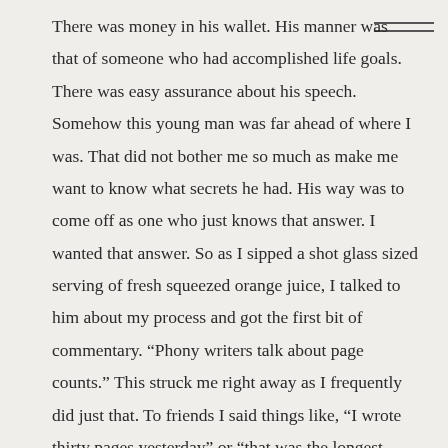There was money in his wallet. His manner was that of someone who had accomplished life goals. There was easy assurance about his speech. Somehow this young man was far ahead of where I was. That did not bother me so much as make me want to know what secrets he had. His way was to come off as one who just knows that answer. I wanted that answer. So as I sipped a shot glass sized serving of fresh squeezed orange juice, I talked to him about my process and got the first bit of commentary. “Phony writers talk about page counts.” This struck me right away as I frequently did just that. To friends I said things like, “I wrote thirty pages yesterday” or “that was the longest